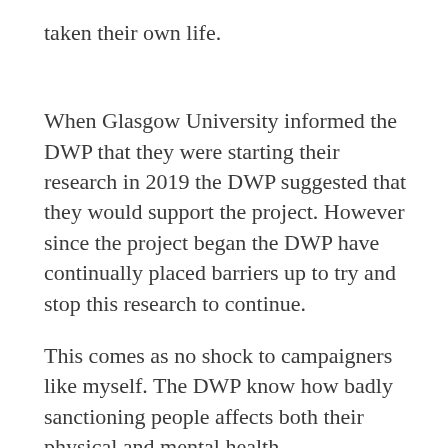taken their own life.
When Glasgow University informed the DWP that they were starting their research in 2019 the DWP suggested that they would support the project. However since the project began the DWP have continually placed barriers up to try and stop this research to continue.
This comes as no shock to campaigners like myself. The DWP know how badly sanctioning people affects both their physical and mental health..